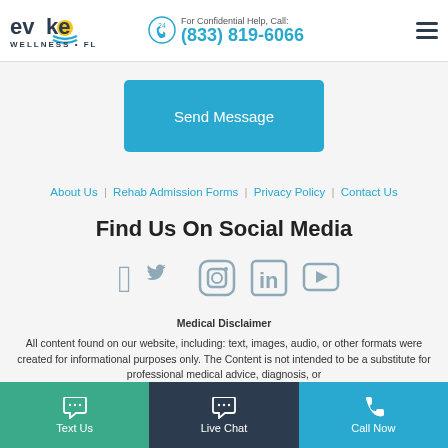[Figure (logo): Evoke Wellness FL logo with sun icon]
For Confidential Help, Call: (833) 819-6066
Send Message
About Us | Rehab Admission Forms | Privacy Policy | Contact Us
Find Us On Social Media
[Figure (illustration): Social media icons: Facebook, Twitter, Instagram, LinkedIn, YouTube]
Medical Disclaimer
All content found on our website, including: text, images, audio, or other formats were created for informational purposes only. The Content is not intended to be a substitute for professional medical advice, diagnosis, or
Text Us | Live Chat | Call Now